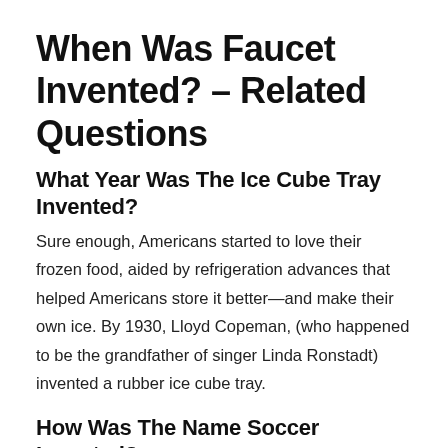When Was Faucet Invented? – Related Questions
What Year Was The Ice Cube Tray Invented?
Sure enough, Americans started to love their frozen food, aided by refrigeration advances that helped Americans store it better—and make their own ice. By 1930, Lloyd Copeman, (who happened to be the grandfather of singer Linda Ronstadt) invented a rubber ice cube tray.
How Was The Name Soccer Invented?
The word "soccer" comes from the name of the...